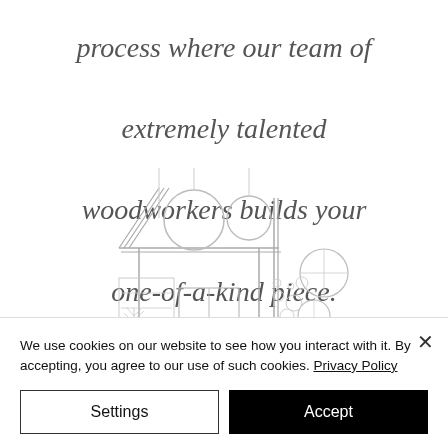process where our team of extremely talented woodworkers builds your one-of-a-kind piece.
[Figure (illustration): Line drawing illustration of a workshop or storefront with circular hanging lamps/orbs above a doorway with shelving, plants, and decorative circles floating to the right]
We use cookies on our website to see how you interact with it. By accepting, you agree to our use of such cookies. Privacy Policy